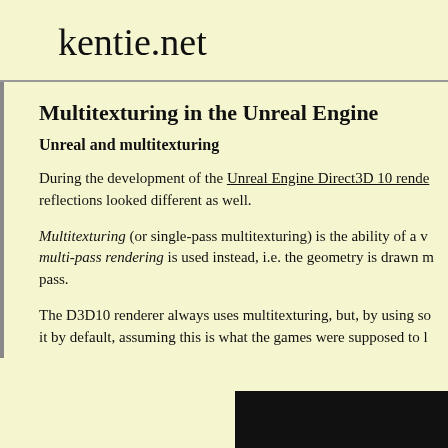kentie.net
Multitexturing in the Unreal Engine
Unreal and multitexturing
During the development of the Unreal Engine Direct3D 10 renderer reflections looked different as well.
Multitexturing (or single-pass multitexturing) is the ability of a v multi-pass rendering is used instead, i.e. the geometry is drawn m pass.
The D3D10 renderer always uses multitexturing, but, by using so it by default, assuming this is what the games were supposed to l
[Figure (screenshot): Dark/black screenshot at bottom right of page]